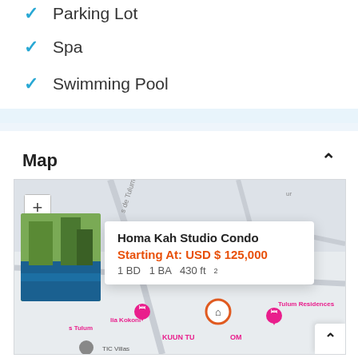Parking Lot
Spa
Swimming Pool
Map
[Figure (map): Interactive map showing property locations including Homa Kah Studio Condo with popup showing Starting At: USD $ 125,000, 1 BD, 1 BA, 430 ft2. Map includes zoom controls and location markers for various properties in Tulum area including KUUN TULUM, Tulum Residences, and others.]